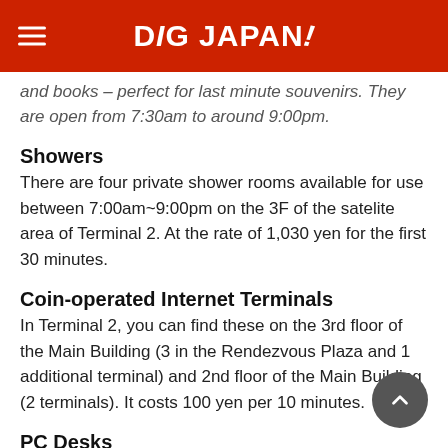DiGJAPAN!
and books – perfect for last minute souvenirs. They are open from 7:30am to around 9:00pm.
Showers
There are four private shower rooms available for use between 7:00am~9:00pm on the 3F of the satelite area of Terminal 2. At the rate of 1,030 yen for the first 30 minutes.
Coin-operated Internet Terminals
In Terminal 2, you can find these on the 3rd floor of the Main Building (3 in the Rendezvous Plaza and 1 additional terminal) and 2nd floor of the Main Building (2 terminals). It costs 100 yen per 10 minutes.
PC Desks
Desks with power outlets (AC 100 volts) and lighting are available on the 3rd floor of the Main Building (departure